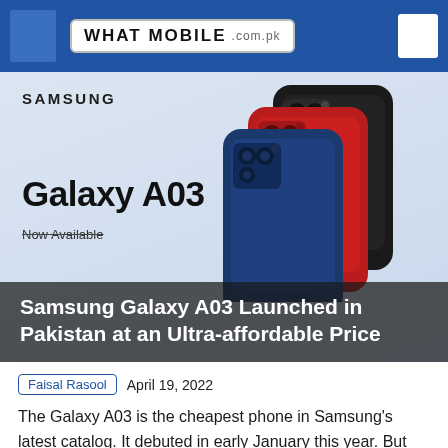WHAT MOBILE .com.pk
[Figure (photo): Samsung Galaxy A03 promotional image showing three phones (black, red, blue) from the back, with Samsung branding, Galaxy A03 text, and 'Now Available' subtitle on a light blue background]
Samsung Galaxy A03 Launched in Pakistan at an Ultra-affordable Price
Faisal Rasool  April 19, 2022
The Galaxy A03 is the cheapest phone in Samsung's latest catalog. It debuted in early January this year. But it's only now being rolled out in Pakistan. Although Samsung has